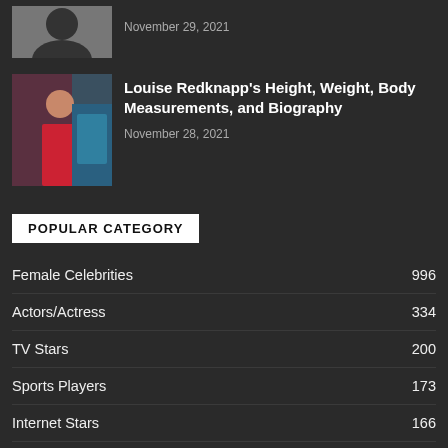[Figure (photo): Silhouette avatar image on dark background]
November 29, 2021
[Figure (photo): Photo of Louise Redknapp in a red outfit near a pool]
Louise Redknapp's Height, Weight, Body Measurements, and Biography
November 28, 2021
POPULAR CATEGORY
Female Celebrities 996
Actors/Actress 334
TV Stars 200
Sports Players 173
Internet Stars 166
English TV Stars 141
Hollywood Actress 135